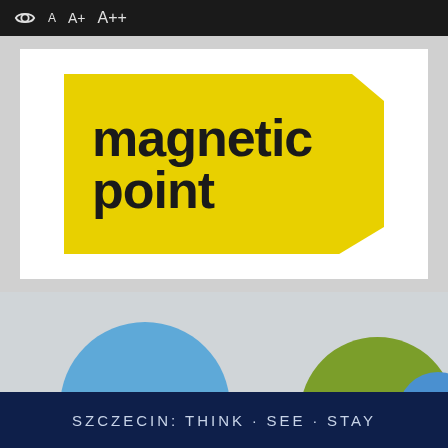⊙ A  A+  A++
[Figure (logo): Magnetic Point logo — yellow hexagonal badge shape with bold black text reading 'magnetic point' on two lines]
[Figure (infographic): Grey background area with two circular navigation buttons: a blue circle labeled 'Jobs' and a green circle labeled 'Oferty uczelni', and a partial blue circle on the right edge]
SZCZECIN: THINK · SEE · STAY